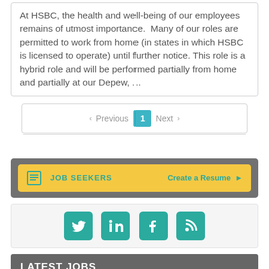At HSBC, the health and well-being of our employees remains of utmost importance. Many of our roles are permitted to work from home (in states in which HSBC is licensed to operate) until further notice. This role is a hybrid role and will be performed partially from home and partially at our Depew, ...
< Previous  1  Next >
JOB SEEKERS   Create a Resume ▷
[Figure (other): Social media icons: Twitter, LinkedIn, Facebook, RSS feed]
LATEST JOBS